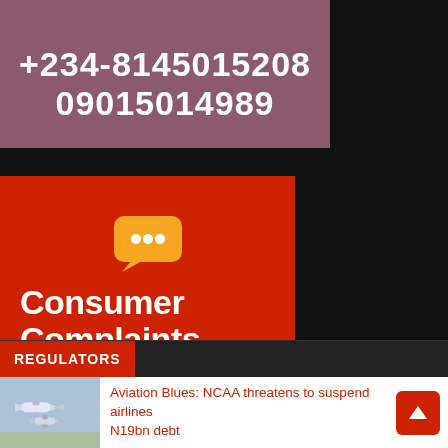+234-8145015208
09015014989
[Figure (illustration): Orange speech bubble icon with three white dots inside, representing a chat/complaint symbol on a red background with white bold text 'Consumer Complaints']
REGULATORS
Aviation Blues: NCAA threatens to suspend airlines N19bn debt